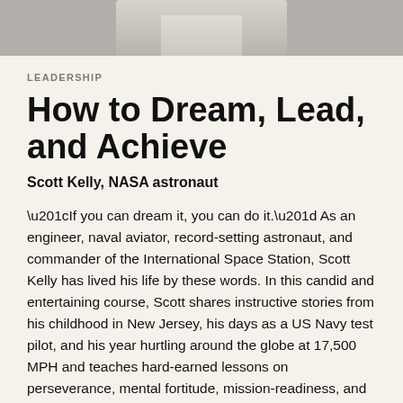[Figure (photo): Partial photo of a person (Scott Kelly) visible at top of page, cropped to show torso/hands area against a light background]
LEADERSHIP
How to Dream, Lead, and Achieve
Scott Kelly, NASA astronaut
“If you can dream it, you can do it.” As an engineer, naval aviator, record-setting astronaut, and commander of the International Space Station, Scott Kelly has lived his life by these words. In this candid and entertaining course, Scott shares instructive stories from his childhood in New Jersey, his days as a US Navy test pilot, and his year hurtling around the globe at 17,500 MPH and teaches hard-earned lessons on perseverance, mental fortitude, mission-readiness, and personal motivation drawn from his experiences in the most